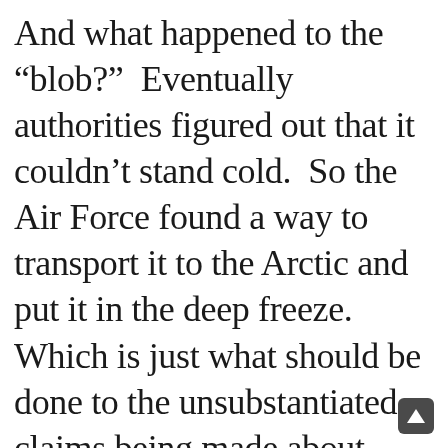And what happened to the "blob?"  Eventually authorities figured out that it couldn't stand cold.  So the Air Force found a way to transport it to the Arctic and put it in the deep freeze. Which is just what should be done to the unsubstantiated claims being made about vitamin B17.